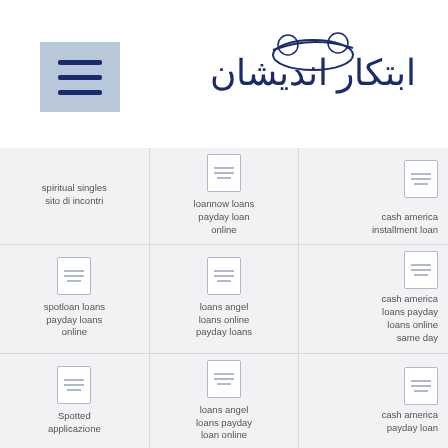[Figure (logo): Menu hamburger icon (three horizontal lines) on a light blue-grey background, and an Arabic/Persian decorative logo on the right]
| Col1 | Col2 | Col3 |
| --- | --- | --- |
| spiritual singles sito di incontri | [icon] loannow loans payday loan online | cash america installment loan |
| [icon] spotloan loans payday loans online | [icon] loans angel loans online payday loans | [icon] cash america loans payday loans online same day |
| [icon] Spotted applicazione | [icon] loans angel loans payday loan online | [icon] cash america payday loan |
| [icon] Spotted visitors | [icon] | cash america (partial) |